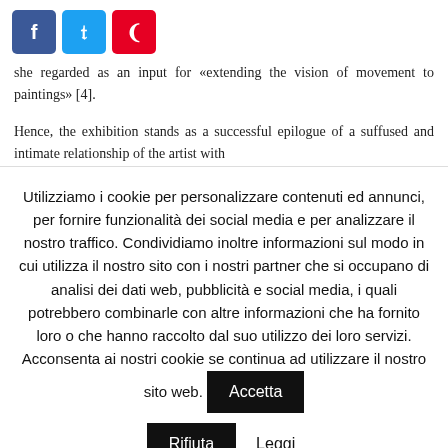[Figure (other): Social media share buttons: Facebook (blue), Twitter (light blue), Pinterest (red)]
she regarded as an input for «extending the vision of movement to paintings» [4].
Hence, the exhibition stands as a successful epilogue of a suffused and intimate relationship of the artist with
Utilizziamo i cookie per personalizzare contenuti ed annunci, per fornire funzionalità dei social media e per analizzare il nostro traffico. Condividiamo inoltre informazioni sul modo in cui utilizza il nostro sito con i nostri partner che si occupano di analisi dei dati web, pubblicità e social media, i quali potrebbero combinarle con altre informazioni che ha fornito loro o che hanno raccolto dal suo utilizzo dei loro servizi. Acconsenta ai nostri cookie se continua ad utilizzare il nostro sito web.
Accetta
Rifiuta
Leggi